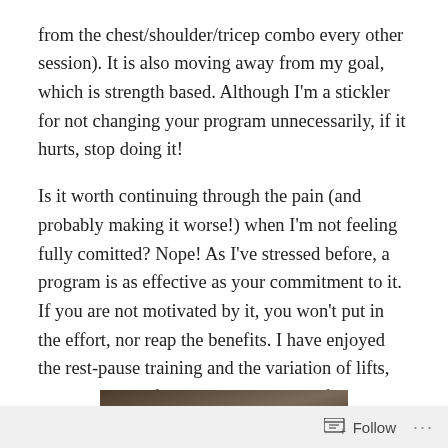from the chest/shoulder/tricep combo every other session). It is also moving away from my goal, which is strength based. Although I'm a stickler for not changing your program unnecessarily, if it hurts, stop doing it!
Is it worth continuing through the pain (and probably making it worse!) when I'm not feeling fully comitted? Nope! As I've stressed before, a program is as effective as your commitment to it. If you are not motivated by it, you won't put in the effort, nor reap the benefits. I have enjoyed the rest-pause training and the variation of lifts, but there are definite things that aren't for me! I think this program is better suited for 'enhanced lifters' if you know what I mean!
[Figure (photo): Partial photo visible at the bottom of the page, appears to be a dark/brown toned image, only top portion visible]
Follow ···